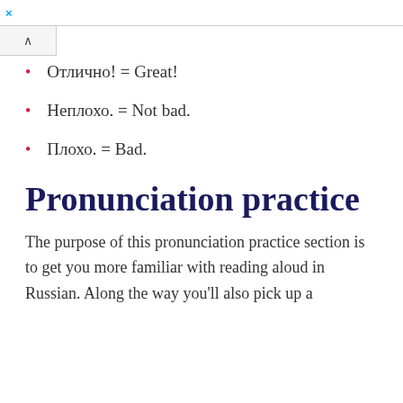×
Отлично! = Great!
Неплохо. = Not bad.
Плохо. = Bad.
Pronunciation practice
The purpose of this pronunciation practice section is to get you more familiar with reading aloud in Russian. Along the way you'll also pick up a